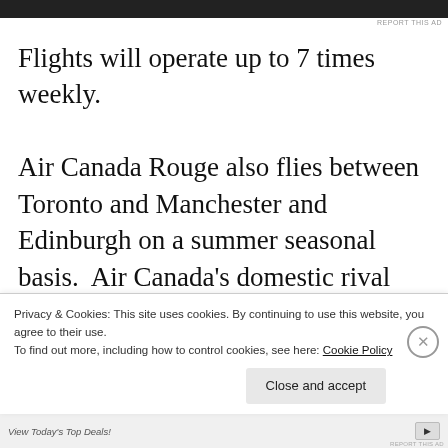[Figure (other): Dark advertisement banner at top of page]
REPORT THIS AD
Flights will operate up to 7 times weekly.
Air Canada Rouge also flies between Toronto and Manchester and Edinburgh on a summer seasonal basis.  Air Canada’s domestic rival WestJet also announced this month that it is to fly between
Privacy & Cookies: This site uses cookies. By continuing to use this website, you agree to their use.
To find out more, including how to control cookies, see here: Cookie Policy
Close and accept
View Today’s Top Deals!
REPORT THIS AD